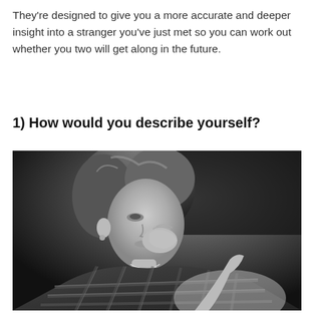They're designed to give you a more accurate and deeper insight into a stranger you've just met so you can work out whether you two will get along in the future.
1) How would you describe yourself?
[Figure (photo): Black and white photograph of a young woman with medium-length hair, wearing a plaid flannel shirt and a necklace, resting her chin/hand near her mouth in a thoughtful pose, looking to the side against a dark background.]